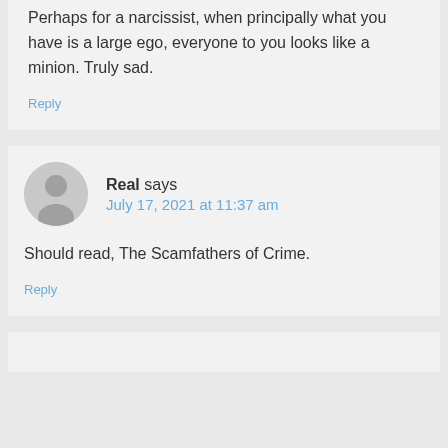Perhaps for a narcissist, when principally what you have is a large ego, everyone to you looks like a minion. Truly sad.
Reply
Real says
July 17, 2021 at 11:37 am
Should read, The Scamfathers of Crime.
Reply